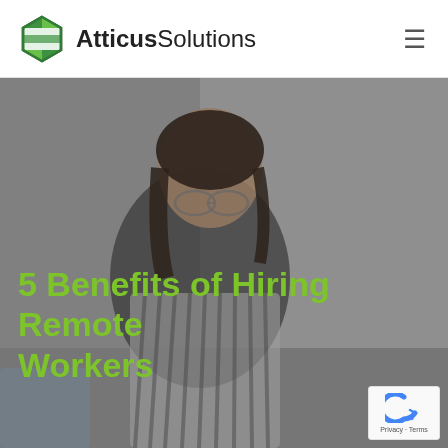Atticus Solutions
[Figure (photo): A young woman with glasses and dark hair wearing a striped top, looking downward, photographed in a light gray interior setting. Used as hero background image for a blog post about remote workers.]
5 Benefits of Hiring Remote Workers